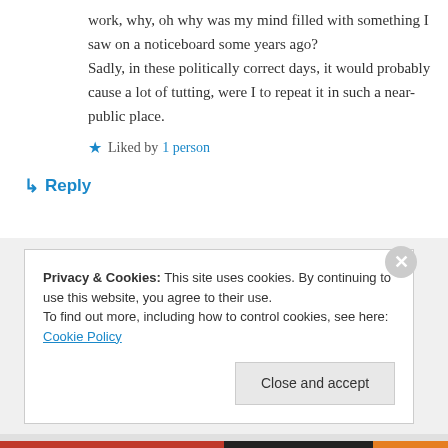work, why, oh why was my mind filled with something I saw on a noticeboard some years ago?
Sadly, in these politically correct days, it would probably cause a lot of tutting, were I to repeat it in such a near-public place.
★ Liked by 1 person
↳ Reply
Privacy & Cookies: This site uses cookies. By continuing to use this website, you agree to their use.
To find out more, including how to control cookies, see here: Cookie Policy
Close and accept